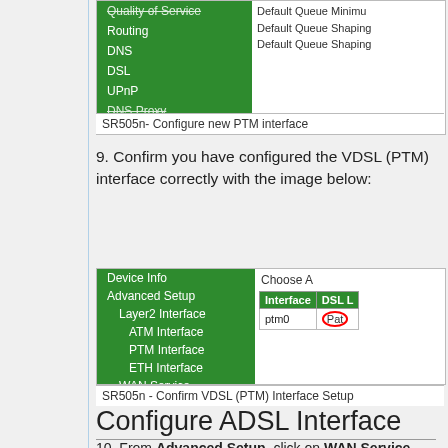[Figure (screenshot): Router admin interface showing green navigation menu with Quality of Service, Routing, DNS, DSL, UPnP, DNS Proxy items and Default Queue Minimum/Shaping text on the right]
SR505n- Configure new PTM interface
9. Confirm you have configured the VDSL (PTM) interface correctly with the image below:
[Figure (screenshot): Router admin interface showing green navigation menu with Device Info, Advanced Setup, Layer2 Interface, ATM Interface, PTM Interface, ETH Interface, WAN Service, Ethernet Config and right panel showing Choose A table with Interface column showing ptm0 and DSL L column with Pat highlighted in red oval]
SR505n - Confirm VDSL (PTM) Interface Setup
Configure ADSL Interface
10. From Advanced Setup, click on WAN Service and then click on Add to